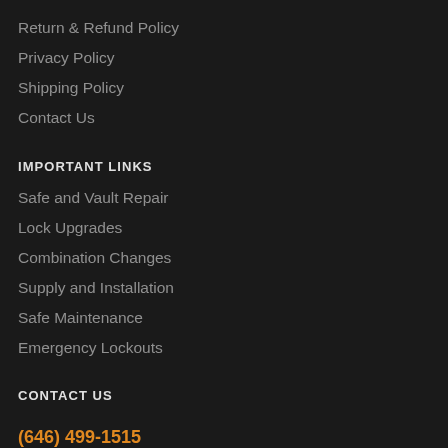Return & Refund Policy
Privacy Policy
Shipping Policy
Contact Us
IMPORTANT LINKS
Safe and Vault Repair
Lock Upgrades
Combination Changes
Supply and Installation
Safe Maintenance
Emergency Lockouts
CONTACT US
(646) 499-1515
Mon–Sun 8:00am–10:00pm EST
301 E 48th